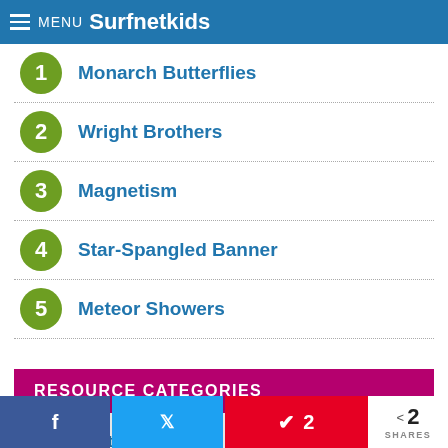MENU Surfnetkids
1 Monarch Butterflies
2 Wright Brothers
3 Magnetism
4 Star-Spangled Banner
5 Meteor Showers
RESOURCE CATEGORIES
Arts, Crafts, Music (240)